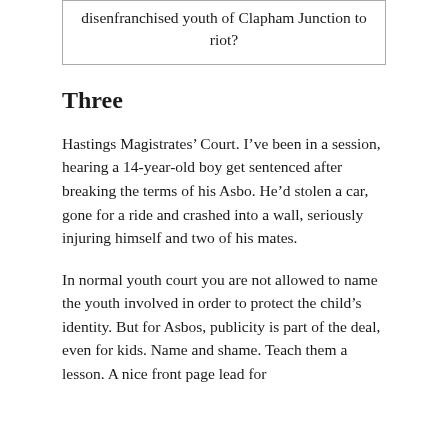disenfranchised youth of Clapham Junction to riot?
Three
Hastings Magistrates’ Court. I’ve been in a session, hearing a 14-year-old boy get sentenced after breaking the terms of his Asbo. He’d stolen a car, gone for a ride and crashed into a wall, seriously injuring himself and two of his mates.
In normal youth court you are not allowed to name the youth involved in order to protect the child’s identity. But for Asbos, publicity is part of the deal, even for kids. Name and shame. Teach them a lesson. A nice front page lead for